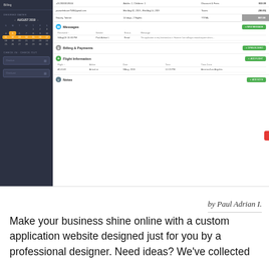[Figure (screenshot): A web application UI screenshot showing a booking/reservation management system with a dark sidebar containing a calendar for August 2019 and check-in/check-out fields. The main content area shows sections for Messages, Billing & Payments, Flight Information, and Notes, each with green action buttons and data tables.]
by Paul Adrian I.
Make your business shine online with a custom application website designed just for you by a professional designer. Need ideas? We've collected